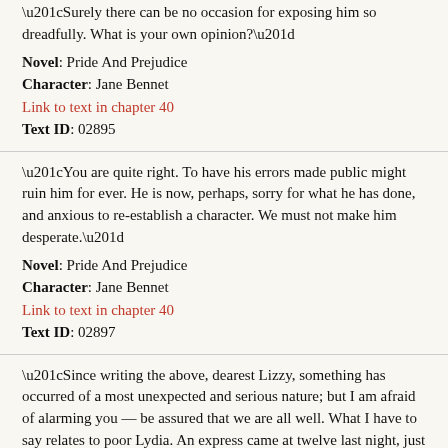“Surely there can be no occasion for exposing him so dreadfully. What is your own opinion?”
Novel: Pride And Prejudice
Character: Jane Bennet
Link to text in chapter 40
Text ID: 02895
“You are quite right. To have his errors made public might ruin him for ever. He is now, perhaps, sorry for what he has done, and anxious to re-establish a character. We must not make him desperate.”
Novel: Pride And Prejudice
Character: Jane Bennet
Link to text in chapter 40
Text ID: 02897
“Since writing the above, dearest Lizzy, something has occurred of a most unexpected and serious nature; but I am afraid of alarming you — be assured that we are all well. What I have to say relates to poor Lydia. An express came at twelve last night, just as we were all gone to bed, from Colonel Forster,